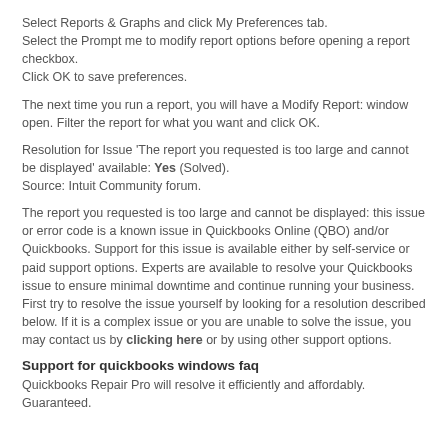Select Reports & Graphs and click My Preferences tab.
Select the Prompt me to modify report options before opening a report checkbox.
Click OK to save preferences.
The next time you run a report, you will have a Modify Report: window open. Filter the report for what you want and click OK.
Resolution for Issue 'The report you requested is too large and cannot be displayed' available: Yes (Solved).
Source: Intuit Community forum.
The report you requested is too large and cannot be displayed: this issue or error code is a known issue in Quickbooks Online (QBO) and/or Quickbooks. Support for this issue is available either by self-service or paid support options. Experts are available to resolve your Quickbooks issue to ensure minimal downtime and continue running your business. First try to resolve the issue yourself by looking for a resolution described below. If it is a complex issue or you are unable to solve the issue, you may contact us by clicking here or by using other support options.
Support for quickbooks windows faq
Quickbooks Repair Pro will resolve it efficiently and affordably. Guaranteed.